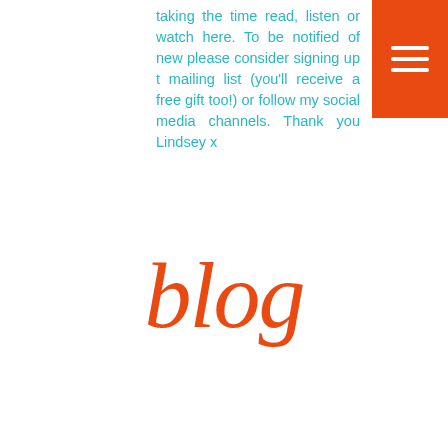taking the time read, listen or watch here. To be notified of new please consider signing up t mailing list (you'll receive a free gift too!) or follow my social media channels. Thank you Lindsey x
[Figure (illustration): Orange hamburger menu button with three white horizontal bars in top-right corner]
blog
BLOG/RESOURCES
All Posts
[Figure (photo): Photo of a woman with long brown hair and glasses, biting on a pencil or pen, smiling]